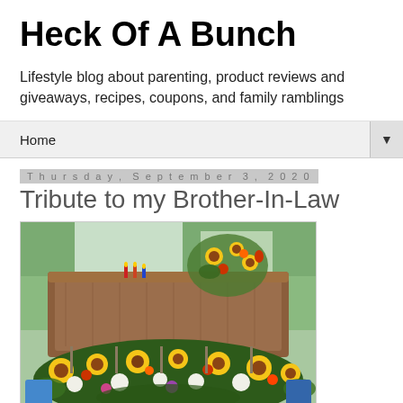Heck Of A Bunch
Lifestyle blog about parenting, product reviews and giveaways, recipes, coupons, and family ramblings
Home ▼
Thursday, September 3, 2020
Tribute to my Brother-In-Law
[Figure (photo): A wooden coffin adorned with colorful flower arrangements including sunflowers and other bright blooms, photographed outdoors under a tent.]